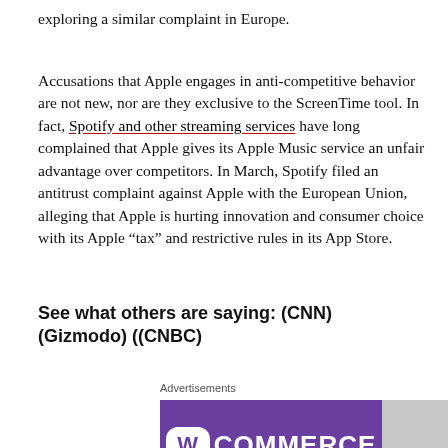exploring a similar complaint in Europe.
Accusations that Apple engages in anti-competitive behavior are not new, nor are they exclusive to the ScreenTime tool. In fact, Spotify and other streaming services have long complained that Apple gives its Apple Music service an unfair advantage over competitors. In March, Spotify filed an antitrust complaint against Apple with the European Union, alleging that Apple is hurting innovation and consumer choice with its Apple “tax” and restrictive rules in its App Store.
See what others are saying: (CNN) (Gizmodo) ((CNBC)
Advertisements
[Figure (logo): WooCommerce logo on purple background]